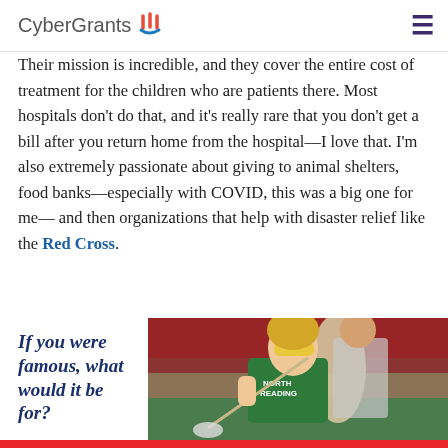CyberGrants
Their mission is incredible, and they cover the entire cost of treatment for the children who are patients there. Most hospitals don't do that, and it's really rare that you don't get a bill after you return home from the hospital—I love that. I'm also extremely passionate about giving to animal shelters, food banks—especially with COVID, this was a big one for me— and then organizations that help with disaster relief like the Red Cross.
If you were famous, what would it be for?
[Figure (photo): A young female lacrosse player wearing a green North Reading jersey and yellow goggles, holding a stick during a game.]